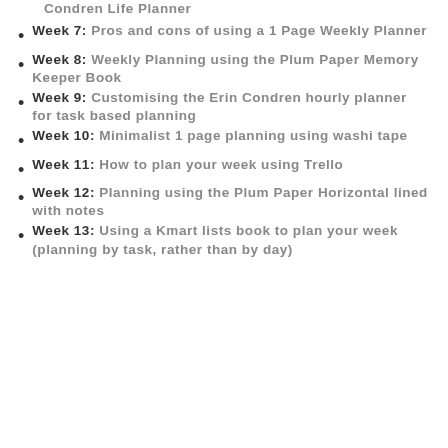Condren Life Planner
Week 7: Pros and cons of using a 1 Page Weekly Planner
Week 8: Weekly Planning using the Plum Paper Memory Keeper Book
Week 9: Customising the Erin Condren hourly planner for task based planning
Week 10: Minimalist 1 page planning using washi tape
Week 11: How to plan your week using Trello
Week 12: Planning using the Plum Paper Horizontal lined with notes
Week 13: Using a Kmart lists book to plan your week (planning by task, rather than by day)